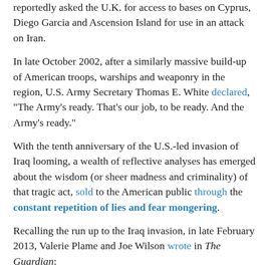reportedly asked the U.K. for access to bases on Cyprus, Diego Garcia and Ascension Island for use in an attack on Iran.
In late October 2002, after a similarly massive build-up of American troops, warships and weaponry in the region, U.S. Army Secretary Thomas E. White declared, "The Army's ready. That's our job, to be ready. And the Army's ready."
With the tenth anniversary of the U.S.-led invasion of Iraq looming, a wealth of reflective analyses has emerged about the wisdom (or sheer madness and criminality) of that tragic act, sold to the American public through the constant repetition of lies and fear mongering.
Recalling the run up to the Iraq invasion, in late February 2013, Valerie Plame and Joe Wilson wrote in The Guardian:
For nearly a year prior to the invasion, President Bush and his administration peppered the airwaves with serious accusations against Saddam Hussein, including claims of aluminum tubes that could be used in centrifuges to enrich